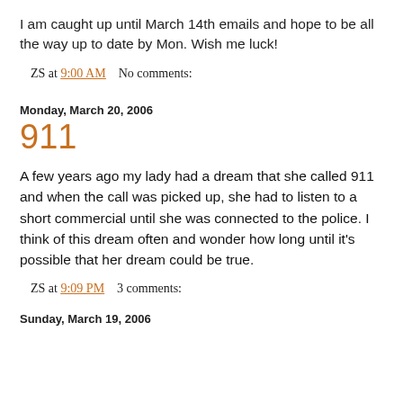I am caught up until March 14th emails and hope to be all the way up to date by Mon. Wish me luck!
ZS at 9:00 AM    No comments:
Monday, March 20, 2006
911
A few years ago my lady had a dream that she called 911 and when the call was picked up, she had to listen to a short commercial until she was connected to the police. I think of this dream often and wonder how long until it's possible that her dream could be true.
ZS at 9:09 PM    3 comments:
Sunday, March 19, 2006